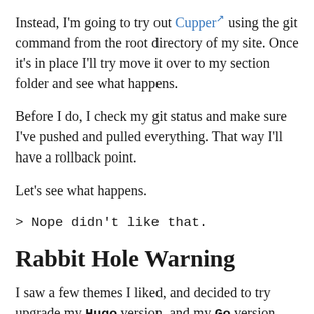Instead, I'm going to try out Cupper [external link] using the git command from the root directory of my site. Once it's in place I'll try move it over to my section folder and see what happens.
Before I do, I check my git status and make sure I've pushed and pulled everything. That way I'll have a rollback point.
Let's see what happens.
> Nope didn't like that.
Rabbit Hole Warning
I saw a few themes I liked, and decided to try upgrade my Hugo version, and my Go version. Rabbit hole.